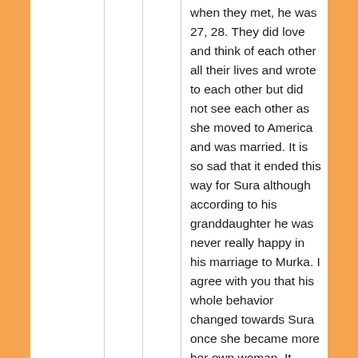when they met, he was 27, 28. They did love and think of each other all their lives and wrote to each other but did not see each other as she moved to America and was married. It is so sad that it ended this way for Sura although according to his granddaughter he was never really happy in his marriage to Murka. I agree with you that his whole behavior changed towards Sura once she became more her own woman. It turned out he was just like his dad and wanted someone to do his bidding and Sura was too headstrong.